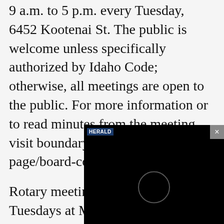9 a.m. to 5 p.m. every Tuesday, 6452 Kootenai St. The public is welcome unless specifically authorized by Idaho Code; otherwise, all meetings are open to the public. For more information or to read minutes from the meeting, visit boundarycounty.us/site-page/board-commissioners.
Rotary meeting: Noon to 1 p.m. Tuesdays at Mugsy's Tavern & Grill, 7161 Main St., Bonners Ferry.
Bonners Ferry City ... first and third Tues... City Hall, 7232 Mai... public is encouraged to attend deci...
[Figure (screenshot): Video player overlay with black background, HERALD badge in top-left corner, a circular spinner/logo in the center, and an X close button in the top-right corner.]